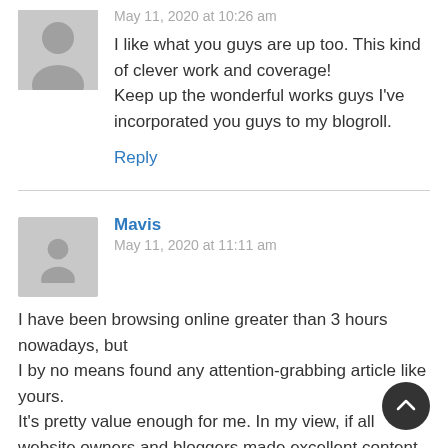May 11, 2020 at 10:26 am
I like what you guys are up too. This kind of clever work and coverage!
Keep up the wonderful works guys I've incorporated you guys to my blogroll.
Reply
Mavis
May 11, 2020 at 11:11 am
I have been browsing online greater than 3 hours nowadays, but
I by no means found any attention-grabbing article like yours.
It's pretty value enough for me. In my view, if all website owners and bloggers made excellent content as you
probably did, the web shall be much more useful than ever before.